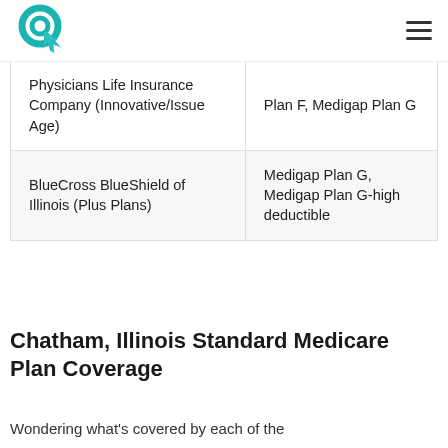Logo and navigation menu
| Physicians Life Insurance Company (Innovative/Issue Age) | Plan F, Medigap Plan G |
| BlueCross BlueShield of Illinois (Plus Plans) | Medigap Plan G, Medigap Plan G-high deductible |
Chatham, Illinois Standard Medicare Plan Coverage
Wondering what's covered by each of the